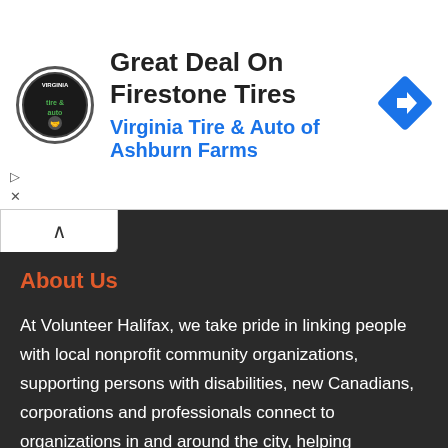[Figure (other): Advertisement banner: Virginia Tire & Auto logo (circular black badge with tire and auto text), headline 'Great Deal On Firestone Tires', subheadline 'Virginia Tire & Auto of Ashburn Farms', blue navigation diamond icon on the right, and ad controls (play/close) on lower left.]
About Us
At Volunteer Halifax, we take pride in linking people with local nonprofit community organizations, supporting persons with disabilities, new Canadians, corporations and professionals connect to organizations in and around the city, helping individuals develop skills to advance their careers, and developing knowledge resources that support effective and efficient volunteer capacity.